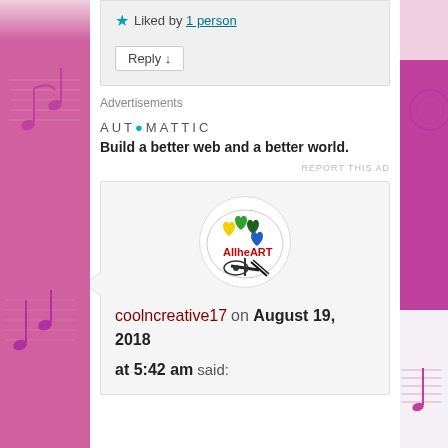Liked by 1 person
Reply ↓
Advertisements
AUTOMATTIC
Build a better web and a better world.
REPORT THIS AD
[Figure (logo): AllHeART logo: a white oval/palette with colorful heart-shaped paint blobs and paintbrush, with text 'AllheART' in red]
coolncreative17 on August 19, 2018 at 5:42 am said: